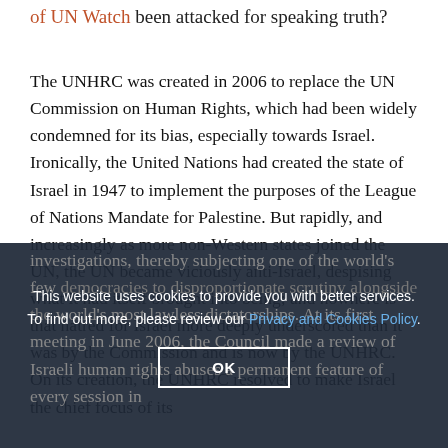of UN Watch been attacked for speaking truth?
The UNHRC was created in 2006 to replace the UN Commission on Human Rights, which had been widely condemned for its bias, especially towards Israel. Ironically, the United Nations had created the state of Israel in 1947 to implement the purposes of the League of Nations Mandate for Palestine. But rapidly, and increasingly as more non-Western states joined the UN, the UN became viciously anti-Israel, despising what it had itself brought into being; and nowhere is that hatred for Israel more deeply underscored than it was by the Commission and is now by the UNHRC. On its creation, the UNHRC resolved to make Israel the chief focus of its investigations, thereby subjecting one of the world's few democracies to disproportionate scrutiny alongside the world's most lawless dictatorships. At its first meeting in June 2006, the Council made a review of Israeli human rights abuses a permanent feature of every session in future. A Special R...
This website uses cookies to provide you with better services. To find out more, please review our Privacy and Cookies Policy.